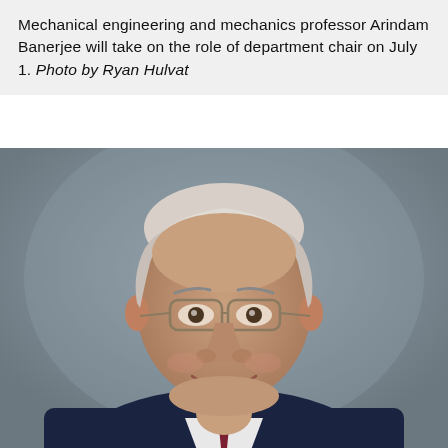Mechanical engineering and mechanics professor Arindam Banerjee will take on the role of department chair on July 1. Photo by Ryan Hulvat
[Figure (photo): Professional headshot of a smiling older man with white/gray hair, wearing glasses, a dark navy suit jacket, white dress shirt, and dark red tie. The background is a neutral gray gradient. This is a formal portrait photo of Professor Arindam Banerjee.]